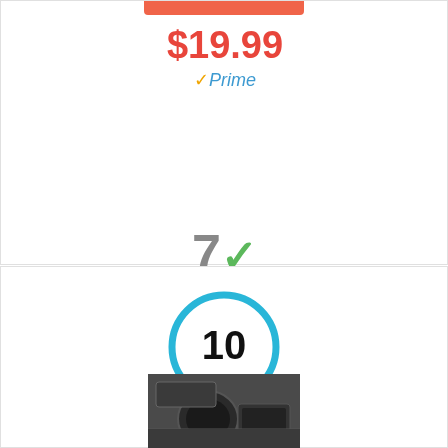[Figure (infographic): Orange bar at top of product card]
$19.99
✓Prime
[Figure (infographic): Score display showing '7' with green checkmark and 'Score' label on blue background]
[Figure (infographic): Circular badge with number 10 inside a blue ring]
[Figure (photo): Photo of a car interior showing steering wheel and dashboard]